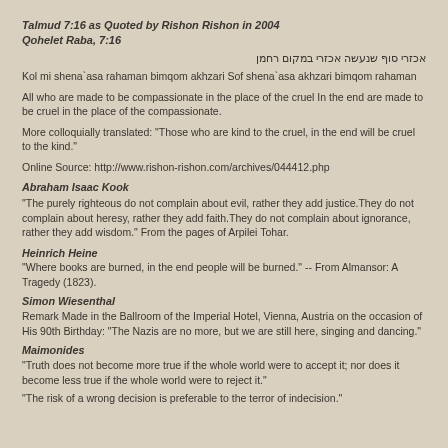Talmud 7:16 as Quoted by Rishon Rishon in 2004
Qohelet Raba, 7:16
אכזרי סוף שנעשה אכזרי במקום רחמן
Kol mi shena`asa rahaman bimqom akhzari Sof shena`asa akhzari bimqom rahaman
All who are made to be compassionate in the place of the cruel In the end are made to be cruel in the place of the compassionate.
More colloquially translated: "Those who are kind to the cruel, in the end will be cruel to the kind."
Online Source: http://www.rishon-rishon.com/archives/044412.php
Abraham Isaac Kook
"The purely righteous do not complain about evil, rather they add justice.They do not complain about heresy, rather they add faith.They do not complain about ignorance, rather they add wisdom." From the pages of Arpilei Tohar.
Heinrich Heine
"Where books are burned, in the end people will be burned." -- From Almansor: A Tragedy (1823).
Simon Wiesenthal
Remark Made in the Ballroom of the Imperial Hotel, Vienna, Austria on the occasion of His 90th Birthday: "The Nazis are no more, but we are still here, singing and dancing."
Maimonides
"Truth does not become more true if the whole world were to accept it; nor does it become less true if the whole world were to reject it."
"The risk of a wrong decision is preferable to the terror of indecision."